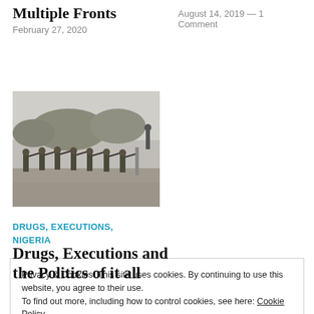Multiple Fronts
February 27, 2020
August 14, 2019 — 1 Comment
[Figure (photo): Black and white photograph of a firing squad execution scene with multiple soldiers aiming rifles at a person standing against a wall.]
DRUGS, EXECUTIONS, NIGERIA
Drugs, Executions and the Politics of it all
Privacy & Cookies: This site uses cookies. By continuing to use this website, you agree to their use.
To find out more, including how to control cookies, see here: Cookie Policy
Close and accept